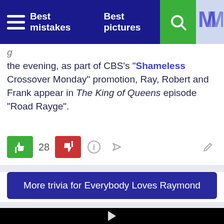Best mistakes  Best pictures
the evening, as part of CBS's "Shameless Crossover Monday" promotion, Ray, Robert and Frank appear in The King of Queens episode "Road Rayge".
[Figure (screenshot): Voting buttons: thumbs up (green), count 28, thumbs down (red), info icon, share icon, edit icon (pencil)]
More trivia for Everybody Loves Raymond
[Figure (screenshot): Black video player area with a white play button triangle in the center]